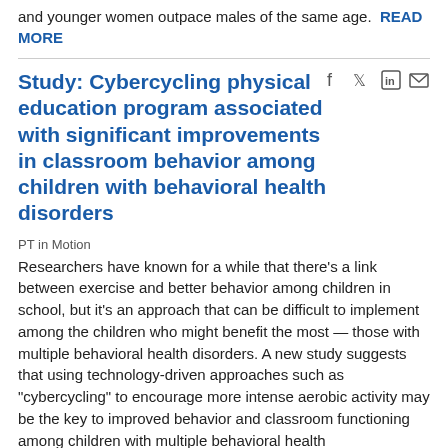and younger women outpace males of the same age. READ MORE
Study: Cybercycling physical education program associated with significant improvements in classroom behavior among children with behavioral health disorders
PT in Motion
Researchers have known for a while that there's a link between exercise and better behavior among children in school, but it's an approach that can be difficult to implement among the children who might benefit the most — those with multiple behavioral health disorders. A new study suggests that using technology-driven approaches such as "cybercycling" to encourage more intense aerobic activity may be the key to improved behavior and classroom functioning among children with multiple behavioral health disorders. READ MORE
Physical activity lowers depression risk in children